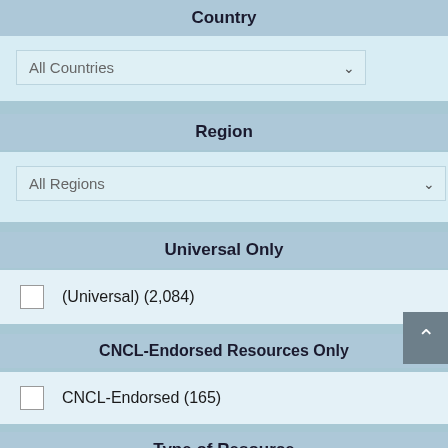Country
All Countries
Region
All Regions
Universal Only
(Universal) (2,084)
CNCL-Endorsed Resources Only
CNCL-Endorsed (165)
Type of Resource
Actions/Events  (522)
Article/Post (240)
Audio/Podcast (5)
Blog/News Feed (852)